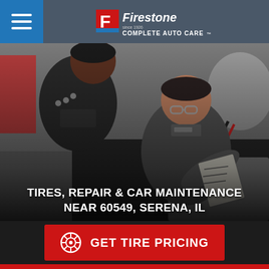Firestone Complete Auto Care
[Figure (photo): Two auto mechanics in gray uniforms inspecting under the hood of a car in a Firestone service bay. One mechanic is pointing at something under the hood while the other looks on.]
TIRES, REPAIR & CAR MAINTENANCE NEAR 60549, SERENA, IL
GET TIRE PRICING